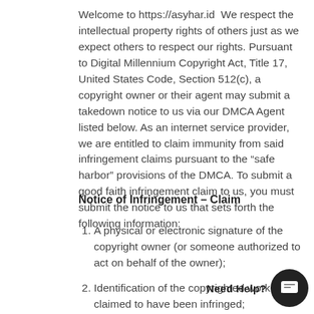Welcome to https://asyhar.id  We respect the intellectual property rights of others just as we expect others to respect our rights. Pursuant to Digital Millennium Copyright Act, Title 17, United States Code, Section 512(c), a copyright owner or their agent may submit a takedown notice to us via our DMCA Agent listed below. As an internet service provider, we are entitled to claim immunity from said infringement claims pursuant to the “safe harbor” provisions of the DMCA. To submit a good faith infringement claim to us, you must submit the notice to us that sets forth the following information:
Notice of Infringement – Claim
A physical or electronic signature of the copyright owner (or someone authorized to act on behalf of the owner);
Identification of the copyrighted work claimed to have been infringed;